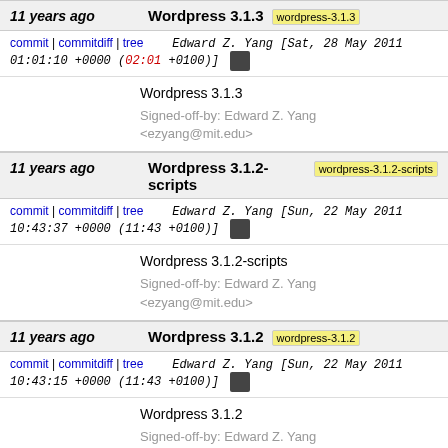11 years ago   Wordpress 3.1.3   wordpress-3.1.3
commit | commitdiff | tree   Edward Z. Yang [Sat, 28 May 2011 01:01:10 +0000 (02:01 +0100)]
Wordpress 3.1.3

Signed-off-by: Edward Z. Yang <ezyang@mit.edu>
11 years ago   Wordpress 3.1.2-scripts   wordpress-3.1.2-scripts
commit | commitdiff | tree   Edward Z. Yang [Sun, 22 May 2011 10:43:37 +0000 (11:43 +0100)]
Wordpress 3.1.2-scripts

Signed-off-by: Edward Z. Yang <ezyang@mit.edu>
11 years ago   Wordpress 3.1.2   wordpress-3.1.2
commit | commitdiff | tree   Edward Z. Yang [Sun, 22 May 2011 10:43:15 +0000 (11:43 +0100)]
Wordpress 3.1.2

Signed-off-by: Edward Z. Yang <ezyang@mit.edu>
11 years ago   Wordpress 3.1.1-scripts   wordpress-3.1.1-scripts